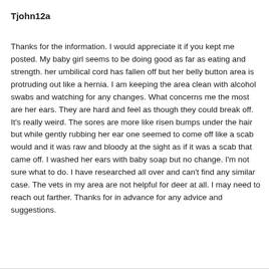Tjohn12a
Thanks for the information. I would appreciate it if you kept me posted. My baby girl seems to be doing good as far as eating and strength. her umbilical cord has fallen off but her belly button area is protruding out like a hernia. I am keeping the area clean with alcohol swabs and watching for any changes. What concerns me the most are her ears. They are hard and feel as though they could break off. It's really weird. The sores are more like risen bumps under the hair but while gently rubbing her ear one seemed to come off like a scab would and it was raw and bloody at the sight as if it was a scab that came off. I washed her ears with baby soap but no change. I'm not sure what to do. I have researched all over and can't find any similar case. The vets in my area are not helpful for deer at all. I may need to reach out farther. Thanks for in advance for any advice and suggestions.